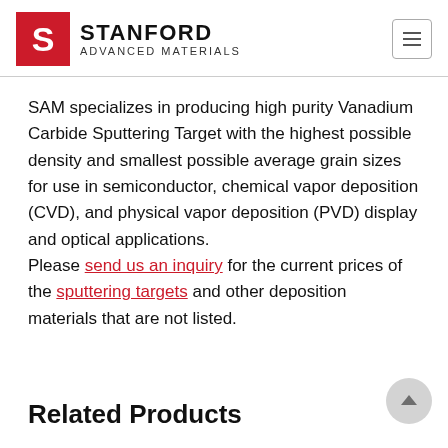STANFORD Advanced Materials
SAM specializes in producing high purity Vanadium Carbide Sputtering Target with the highest possible density and smallest possible average grain sizes for use in semiconductor, chemical vapor deposition (CVD), and physical vapor deposition (PVD) display and optical applications. Please send us an inquiry for the current prices of the sputtering targets and other deposition materials that are not listed.
Related Products